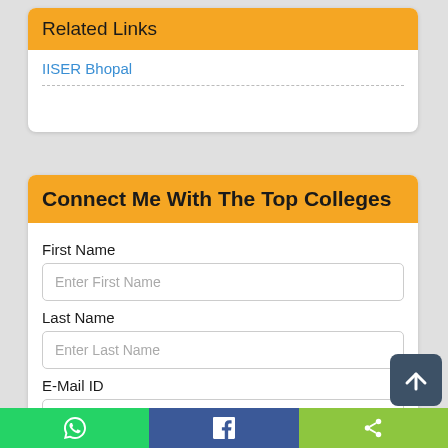Related Links
IISER Bhopal
Connect Me With The Top Colleges
First Name
Enter First Name
Last Name
Enter Last Name
E-Mail ID
Enter your E-Mail ID